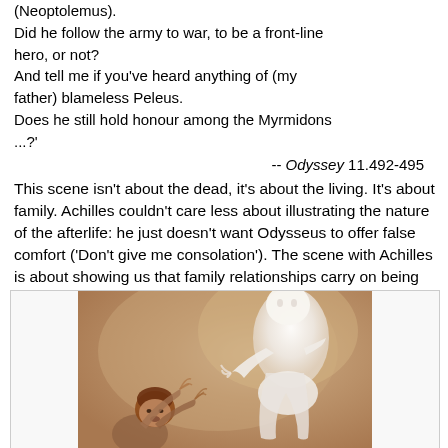(Neoptolemus).
Did he follow the army to war, to be a front-line hero, or not?
And tell me if you've heard anything of (my father) blameless Peleus.
Does he still hold honour among the Myrmidons ...?'
-- Odyssey 11.492-495
This scene isn't about the dead, it's about the living. It's about family. Achilles couldn't care less about illustrating the nature of the afterlife: he just doesn't want Odysseus to offer false comfort ('Don't give me consolation'). The scene with Achilles is about showing us that family relationships carry on being important when a family member dies. A relationship doesn't just vanish when life stops.
[Figure (illustration): A painting showing a ghostly white figure (apparition) on the right side reaching toward a living man on the lower left who reaches back with outstretched hands, set against a warm brownish-pink background.]